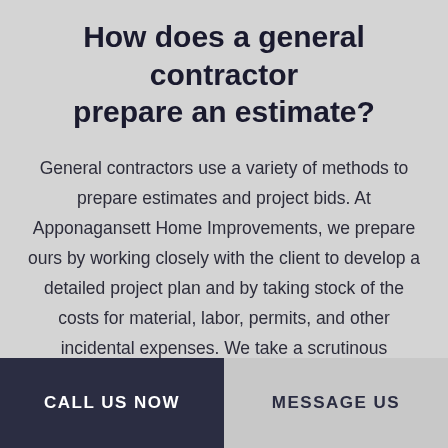How does a general contractor prepare an estimate?
General contractors use a variety of methods to prepare estimates and project bids. At Apponagansett Home Improvements, we prepare ours by working closely with the client to develop a detailed project plan and by taking stock of the costs for material, labor, permits, and other incidental expenses. We take a scrutinous approach to ensure our work stays within the client's budget.
CALL US NOW | MESSAGE US